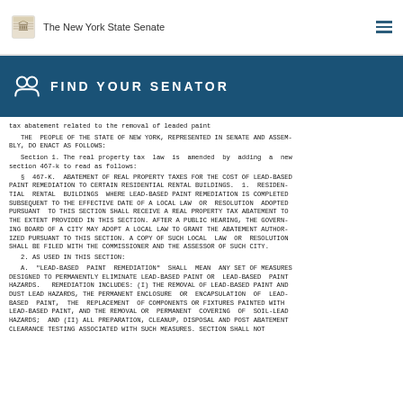The New York State Senate
FIND YOUR SENATOR
tax abatement related to the removal of leaded paint
THE PEOPLE OF THE STATE OF NEW YORK, REPRESENTED IN SENATE AND ASSEMBLY, DO ENACT AS FOLLOWS:
Section 1. The real property tax law is amended by adding a new section 467-k to read as follows:
§ 467-K. ABATEMENT OF REAL PROPERTY TAXES FOR THE COST OF LEAD-BASED PAINT REMEDIATION TO CERTAIN RESIDENTIAL RENTAL BUILDINGS. 1. RESIDENTIAL RENTAL BUILDINGS WHERE LEAD-BASED PAINT REMEDIATION IS COMPLETED SUBSEQUENT TO THE EFFECTIVE DATE OF A LOCAL LAW OR RESOLUTION ADOPTED PURSUANT TO THIS SECTION SHALL RECEIVE A REAL PROPERTY TAX ABATEMENT TO THE EXTENT PROVIDED IN THIS SECTION. AFTER A PUBLIC HEARING, THE GOVERNING BOARD OF A CITY MAY ADOPT A LOCAL LAW TO GRANT THE ABATEMENT AUTHORIZED PURSUANT TO THIS SECTION. A COPY OF SUCH LOCAL LAW OR RESOLUTION SHALL BE FILED WITH THE COMMISSIONER AND THE ASSESSOR OF SUCH CITY.
2. AS USED IN THIS SECTION:
A. "LEAD-BASED PAINT REMEDIATION" SHALL MEAN ANY SET OF MEASURES DESIGNED TO PERMANENTLY ELIMINATE LEAD-BASED PAINT OR LEAD-BASED PAINT HAZARDS. REMEDIATION INCLUDES: (I) THE REMOVAL OF LEAD-BASED PAINT AND DUST LEAD HAZARDS, THE PERMANENT ENCLOSURE OR ENCAPSULATION OF LEAD-BASED PAINT, THE REPLACEMENT OF COMPONENTS OR FIXTURES PAINTED WITH LEAD-BASED PAINT, AND THE REMOVAL OR PERMANENT COVERING OF SOIL-LEAD HAZARDS; AND (II) ALL PREPARATION, CLEANUP, DISPOSAL AND POST ABATEMENT CLEARANCE TESTING ASSOCIATED WITH SUCH MEASURES. SECTION SHALL NOT